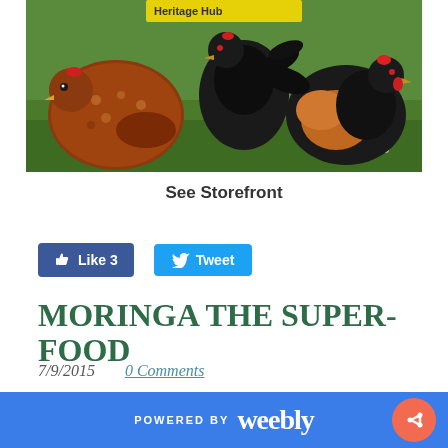[Figure (photo): Photo of chickens (hens and rooster) pecking on green grass with white clover flowers. A large rusty-brown speckled hen is on the left, a black rooster in the center-back, and a black-and-orange rooster on the right. Yellow label text partially visible at top.]
See Storefront
[Figure (other): Facebook Like button showing 'Like 3' in blue, and Twitter Tweet button in blue]
MORINGA THE SUPER-FOOD
7/9/2015    0 Comments
POWERED BY weebly